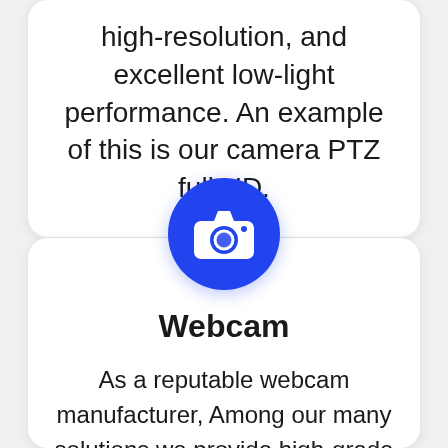high-resolution, and excellent low-light performance. An example of this is our camera PTZ full HD.
[Figure (illustration): Blue circle with white camera icon (photo/webcam symbol)]
Webcam
As a reputable webcam manufacturer, Among our many solutions we provide high-grade webcams that allow users to hear and see athletes and game players